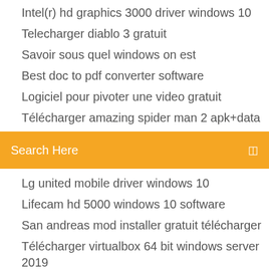Intel(r) hd graphics 3000 driver windows 10
Telecharger diablo 3 gratuit
Savoir sous quel windows on est
Best doc to pdf converter software
Logiciel pour pivoter une video gratuit
Télécharger amazing spider man 2 apk+data
[Figure (screenshot): Orange search bar with text 'Search Here' and a search/menu icon on the right]
Lg united mobile driver windows 10
Lifecam hd 5000 windows 10 software
San andreas mod installer gratuit télécharger
Télécharger virtualbox 64 bit windows server 2019
http://clarkgc.linkpc.net/hp-deskjet-1050-driver-free-download-for-windows-10-722206.html
[Figure (infographic): Social icons: Facebook, Twitter, Dribbble, Behance]